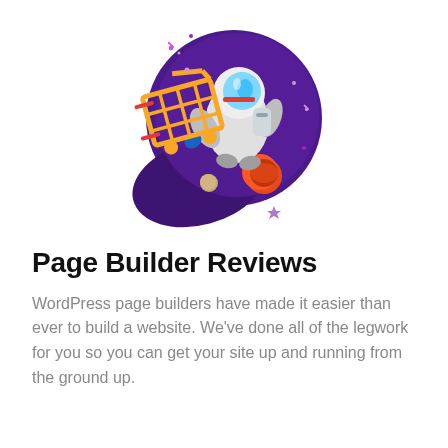[Figure (illustration): Colorful illustration of an astronaut in a white spacesuit floating in space against a deep purple planet/globe background, holding a golden shopping cart. Orange/red accent lines and small planets/stars scattered around.]
Page Builder Reviews
WordPress page builders have made it easier than ever to build a website. We've done all of the legwork for you so you can get your site up and running from the ground up.